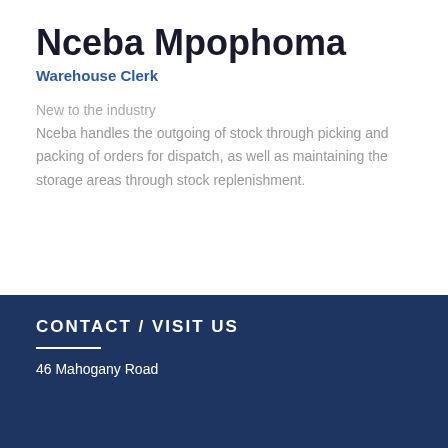Nceba Mpophoma
Warehouse Clerk
New to the industry
Nceba handles the outgoing of stock through picking and packing of orders for dispatch, as well as maintaining the storage areas through stock replenishment.
CONTACT / VISIT US
46 Mahogany Road